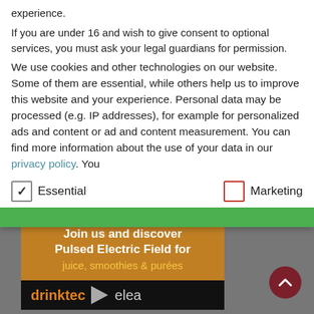experience.
If you are under 16 and wish to give consent to optional services, you must ask your legal guardians for permission.
We use cookies and other technologies on our website. Some of them are essential, while others help us to improve this website and your experience. Personal data may be processed (e.g. IP addresses), for example for personalized ads and content or ad and content measurement. You can find more information about the use of your data in our privacy policy. You
Essential
Marketing
[Figure (screenshot): Advertisement banner for drinktec and elea — '12th-16th Sept Munich booth 218 / Join us and discover Pulsed Electric Field for juice, smoothies & purées / drinktec ▶ elea']